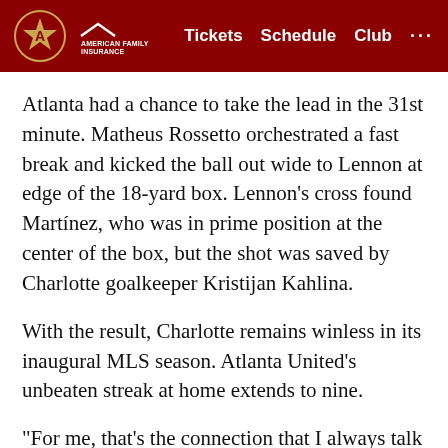Atlanta United FC | Tickets | Schedule | Club
Atlanta had a chance to take the lead in the 31st minute. Matheus Rossetto orchestrated a fast break and kicked the ball out wide to Lennon at edge of the 18-yard box. Lennon's cross found Martínez, who was in prime position at the center of the box, but the shot was saved by Charlotte goalkeeper Kristijan Kahlina.
With the result, Charlotte remains winless in its inaugural MLS season. Atlanta United's unbeaten streak at home extends to nine.
“For me, that’s the connection that I always talk about when the crowd is on the same page with the players and they know what we need,” head coach Gonzalo Pineda said. “I think that’s the result, and I’m just happy